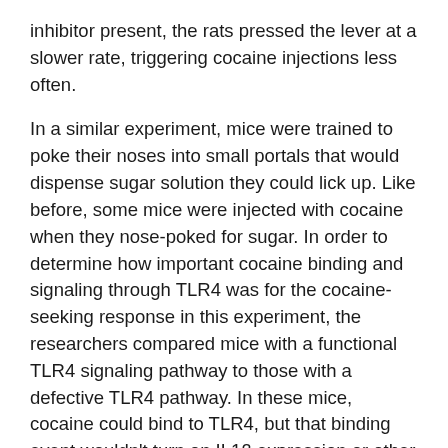inhibitor present, the rats pressed the lever at a slower rate, triggering cocaine injections less often.
In a similar experiment, mice were trained to poke their noses into small portals that would dispense sugar solution they could lick up. Like before, some mice were injected with cocaine when they nose-poked for sugar. In order to determine how important cocaine binding and signaling through TLR4 was for the cocaine-seeking response in this experiment, the researchers compared mice with a functional TLR4 signaling pathway to those with a defective TLR4 pathway. In these mice, cocaine could bind to TLR4, but that binding event wouldn't turn on IL1β expression or other aspects of inflammatory signaling. Mice with a non-functional TLR4 signaling pathway triggered fewer cocaine injections than those mice where cocaine could activate TLR4.
Taken together, these experiments show that cocaine binding